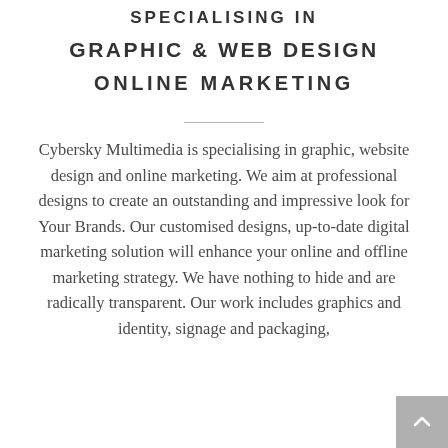SPECIALISING IN
GRAPHIC & WEB DESIGN
ONLINE MARKETING
Cybersky Multimedia is specialising in graphic, website design and online marketing. We aim at professional designs to create an outstanding and impressive look for Your Brands. Our customised designs, up-to-date digital marketing solution will enhance your online and offline marketing strategy. We have nothing to hide and are radically transparent. Our work includes graphics and identity, signage and packaging,